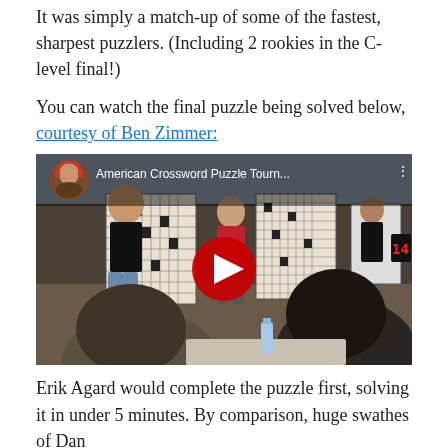It was simply a match-up of some of the fastest, sharpest puzzlers. (Including 2 rookies in the C-level final!)
You can watch the final puzzle being solved below, courtesy of Ben Zimmer:
[Figure (screenshot): YouTube video thumbnail showing the American Crossword Puzzle Tournament final. Three competitors stand at crossword puzzle boards on easels in a conference room. Audience members are visible in the foreground. A red YouTube play button is overlaid in the center. The video title reads 'American Crossword Puzzle Tourn...' with a circular avatar of the uploader wearing red headphones.]
Erik Agard would complete the puzzle first, solving it in under 5 minutes. By comparison, huge swathes of Dan